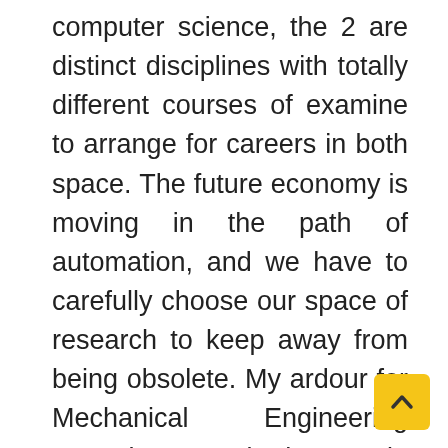computer science, the 2 are distinct disciplines with totally different courses of examine to arrange for careers in both space. The future economy is moving in the path of automation, and we have to carefully choose our space of research to keep away from being obsolete. My ardour for Mechanical Engineering started 6 years in the past in ITE, and SIT's Mechanical Design and Manufacturing Engineering course seemed Technology one of the best match for me. Our partnership with Toshiba delivers cutting-edge options that ensure fast and reliable integration for the deployment of next-generation storage architectures. We've partnered with Tanvas to deliver TanvasTo…, a brand new and dynamic touch expertise. Run